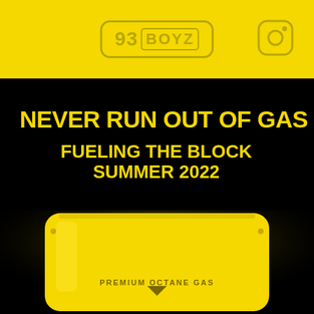93 BOYZ
NEVER RUN OUT OF GAS
FUELING THE BLOCK SUMMER 2022
[Figure (photo): Yellow resealable pouch/bag product with 'PREMIUM OCTANE GAS' label and downward arrow, photographed against black background with glowing yellow light effect]